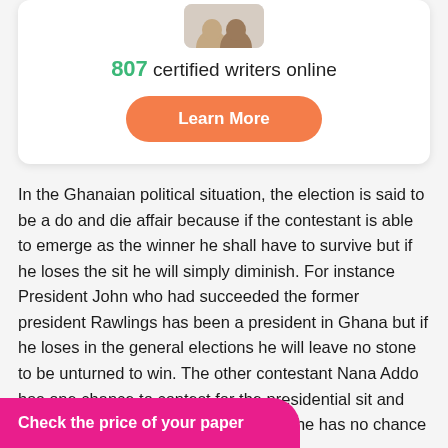[Figure (photo): Partial photo of people at top of card]
807 certified writers online
Learn More
In the Ghanaian political situation, the election is said to be a do and die affair because if the contestant is able to emerge as the winner he shall have to survive but if he loses the sit he will simply diminish. For instance President John who had succeeded the former president Rawlings has been a president in Ghana but if he loses in the general elections he will leave no stone to be unturned to win. The other contestant Nana Addo has one chance to contest for the presidential sit and that if he does not win this time round he has no chance to ntestant. It is as well as for John
Check the price of your paper